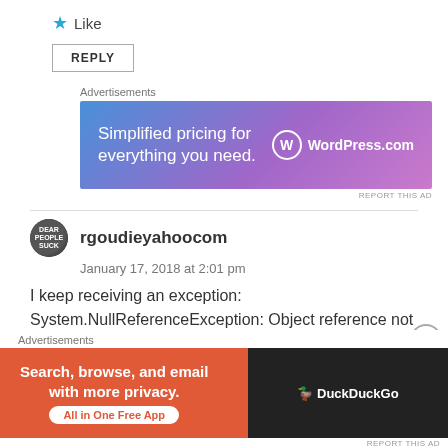★ Like
REPLY
Advertisements
[Figure (screenshot): WordPress.com ad banner: 'Simplified pricing for everything you need.' with WordPress logo]
rgoudieyahoocom
January 17, 2018 at 2:01 pm
I keep receiving an exception:
System.NullReferenceException: Object reference not set to an instance of an object.
Advertisements
[Figure (screenshot): DuckDuckGo ad banner: 'Search, browse, and email with more privacy. All in One Free App']